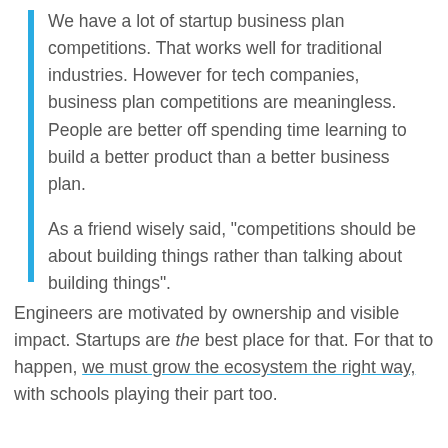We have a lot of startup business plan competitions. That works well for traditional industries. However for tech companies, business plan competitions are meaningless. People are better off spending time learning to build a better product than a better business plan.
As a friend wisely said, “competitions should be about building things rather than talking about building things”.
Engineers are motivated by ownership and visible impact. Startups are the best place for that. For that to happen, we must grow the ecosystem the right way, with schools playing their part too.